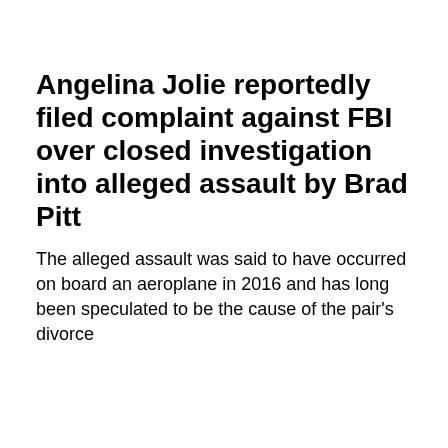Angelina Jolie reportedly filed complaint against FBI over closed investigation into alleged assault by Brad Pitt
The alleged assault was said to have occurred on board an aeroplane in 2016 and has long been speculated to be the cause of the pair's divorce